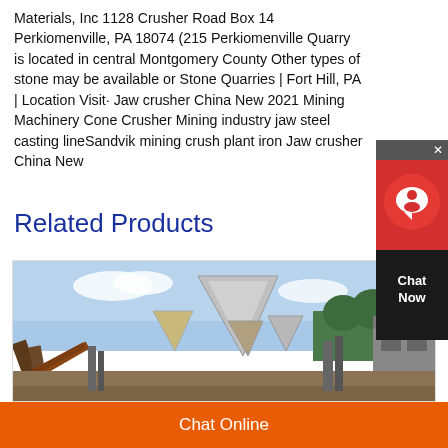Materials, Inc 1128 Crusher Road Box 14 Perkiomenville, PA 18074 (215 Perkiomenville Quarry is located in central Montgomery County Other types of stone may be available or Stone Quarries | Fort Hill, PA | Location Visit· Jaw crusher China New 2021 Mining Machinery Cone Crusher Mining industry jaw steel casting lineSandvik mining crush plant iron Jaw crusher China New
Related Products
[Figure (photo): Outdoor photo of industrial mining/crushing machinery equipment including jaw crushers and cone crushers with triangular metal structures, conveyor belts, and industrial buildings in the background under a blue sky with trees.]
[Figure (other): Chat Now widget with red circular chat icon and dark background showing 'Chat Now' text]
Chat Online